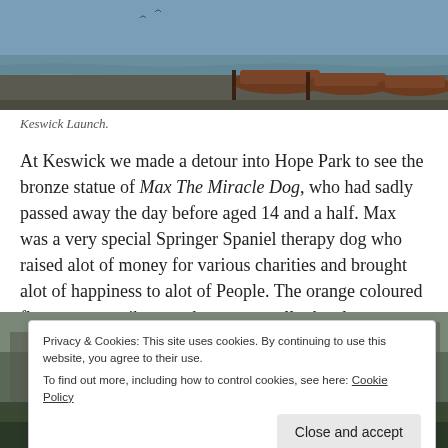[Figure (photo): Photo of wooden rowing boats moored at a lakeside dock, Keswick Launch, with calm water in the background.]
Keswick Launch.
At Keswick we made a detour into Hope Park to see the bronze statue of Max The Miracle Dog, who had sadly passed away the day before aged 14 and a half. Max was a very special Springer Spaniel therapy dog who raised alot of money for various charities and brought alot of happiness to alot of People. The orange coloured flowers are a tribute to the orange collar he always wore. 🧡🧡
[Figure (photo): Partial photo of a historic building or lakeside structure, partially obscured by a cookie consent banner.]
Privacy & Cookies: This site uses cookies. By continuing to use this website, you agree to their use. To find out more, including how to control cookies, see here: Cookie Policy Close and accept